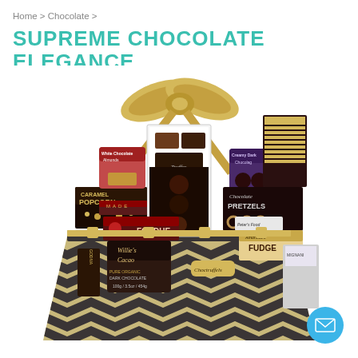Home > Chocolate >
SUPREME CHOCOLATE ELEGANCE
[Figure (photo): A large luxury gift basket filled with assorted chocolates and gourmet treats including Caramel Popcorn, Fondue, Willie's Cacao, Godiva, Fudge, Chocolate Pretzels, and various other chocolate products. The basket has a gold and dark chevron pattern and is topped with a large gold ribbon bow.]